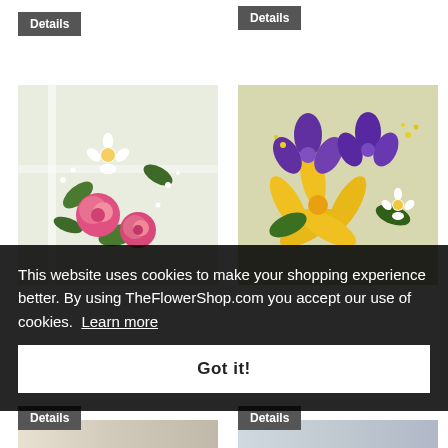[Figure (screenshot): Dark gray 'Details' button at top left of the page]
[Figure (screenshot): Dark gray 'Details' button at top right of the page]
[Figure (photo): Flower bouquet with pink roses, white daisies, and green foliage on white background]
[Figure (photo): Flower bouquet with purple iris, yellow lilies, and white daisies in a basket]
This website uses cookies to make your shopping experience better. By using TheFlowerShop.com you accept our use of cookies. Learn more
[Figure (screenshot): White 'Got it!' confirmation button for cookie consent]
[Figure (screenshot): Dark gray 'Details' button partially visible at bottom left]
[Figure (screenshot): Dark gray 'Details' button partially visible at bottom right]